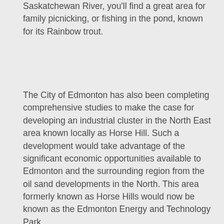Hermitage Park, on the northern side of the Saskatchewan River, you'll find a great area for family picnicking, or fishing in the pond, known for its Rainbow trout.
The City of Edmonton has also been completing comprehensive studies to make the case for developing an industrial cluster in the North East area known locally as Horse Hill. Such a development would take advantage of the significant economic opportunities available to Edmonton and the surrounding region from the oil sand developments in the North. This area formerly known as Horse Hills would now be known as the Edmonton Energy and Technology Park.